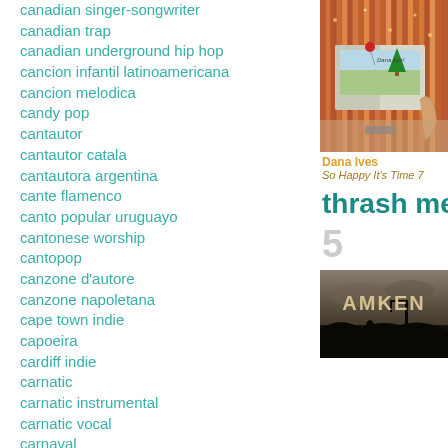canadian singer-songwriter
canadian trap
canadian underground hip hop
cancion infantil latinoamericana
cancion melodica
candy pop
cantautor
cantautor catala
cantautora argentina
cante flamenco
canto popular uruguayo
cantonese worship
cantopop
canzone d'autore
canzone napoletana
cape town indie
capoeira
cardiff indie
carnatic
carnatic instrumental
carnatic vocal
carnaval
carnaval limburg
cartoni animati
cartoon
[Figure (photo): Album cover photo for Dana Ives - So Happy It's Time, showing a person holding a greeting card with a sparkly pink curtain background]
Dana Ives
So Happy It's Time 7
thrash met
5
[Figure (photo): Album cover for Amken showing the band name AMKEN text over a dark atmospheric landscape background]